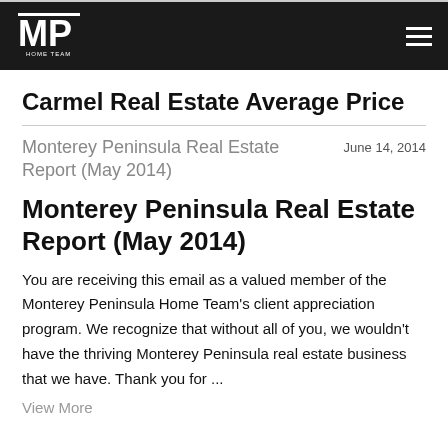MP Home Team
Carmel Real Estate Average Price
Monterey Peninsula Real Estate Report (May 2014)
June 14, 2014
Monterey Peninsula Real Estate Report (May 2014)
You are receiving this email as a valued member of the Monterey Peninsula Home Team's client appreciation program. We recognize that without all of you, we wouldn't have the thriving Monterey Peninsula real estate business that we have. Thank you for ...
View More